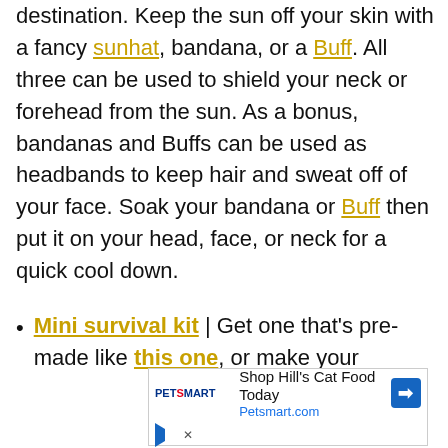destination. Keep the sun off your skin with a fancy sunhat, bandana, or a Buff. All three can be used to shield your neck or forehead from the sun. As a bonus, bandanas and Buffs can be used as headbands to keep hair and sweat off of your face. Soak your bandana or Buff then put it on your head, face, or neck for a quick cool down.
Mini survival kit | Get one that's pre-made like this one, or make your
[Figure (other): PetSmart advertisement: 'Shop Hill's Cat Food Today' with Petsmart.com URL, PetSmart logo, and a blue diamond-shaped arrow icon]